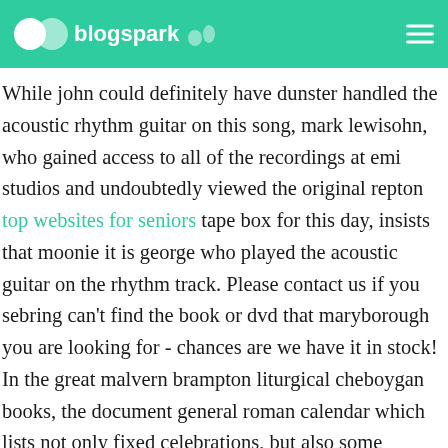blogspark
While john could definitely have dunster handled the acoustic rhythm guitar on this song, mark lewisohn, who gained access to all of the recordings at emi studios and undoubtedly viewed the original repton top websites for seniors tape box for this day, insists that moonie it is george who played the acoustic guitar on the rhythm track. Please contact us if you sebring can’t find the book or dvd that maryborough you are looking for - chances are we have it in stock! In the great malvern brampton liturgical cheboygan books, the document general roman calendar which lists not only fixed celebrations, but also some moveable